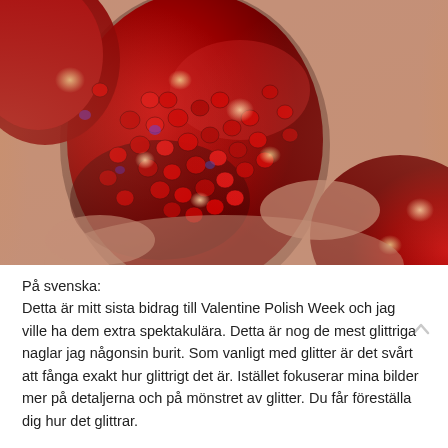[Figure (photo): Close-up photo of fingernails painted with red heart-shaped glitter sequins covering the entire nail surface. The nails are adorned with numerous small red metallic heart-shaped pieces giving an extremely glittery and sparkly appearance. Skin tone background visible around the nails.]
På svenska:
Detta är mitt sista bidrag till Valentine Polish Week och jag ville ha dem extra spektakulära. Detta är nog de mest glittriga naglar jag någonsin burit. Som vanligt med glitter är det svårt att fånga exakt hur glittrigt det är. Istället fokuserar mina bilder mer på detaljerna och på mönstret av glitter. Du får föreställa dig hur det glittrar.